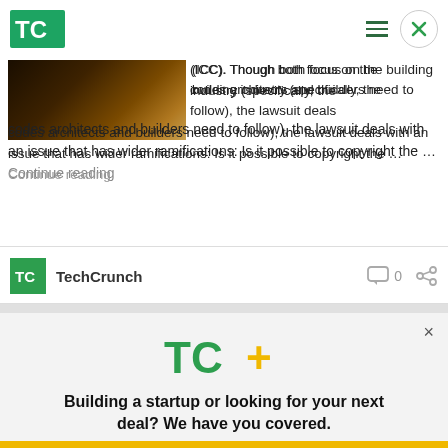[Figure (logo): TechCrunch logo (TC green letters) in top navigation bar]
(ICC). Though both focus on the building industry (specifically, the codes architects and builders need to follow), the lawsuit deals with an issue that has wider ramifications: Is it possible to copyright the … Continue reading
[Figure (logo): TechCrunch small square logo and brand name]
TechCrunch
0
[Figure (logo): TC+ logo (TechCrunch plus) promotional banner]
Building a startup or looking for your next deal? We have you covered.
EXPLORE NOW